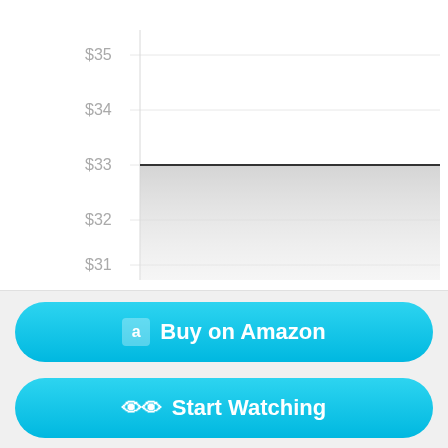[Figure (continuous-plot): Price chart showing a flat line at approximately $33 price level. Y-axis shows price labels: $31, $32, $33, $34, $35. The line is flat (horizontal) at $33 with a light gray shaded area below it filling down toward $32.]
Buy on Amazon
Start Watching